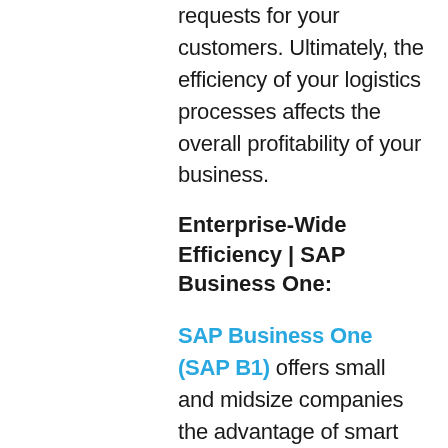requests for your customers. Ultimately, the efficiency of your logistics processes affects the overall profitability of your business.
Enterprise-Wide Efficiency | SAP Business One:
SAP Business One (SAP B1) offers small and midsize companies the advantage of smart supply chain technology and streamlined workflow in order to increase productivity, cut costs, and help ensure fulfillment...